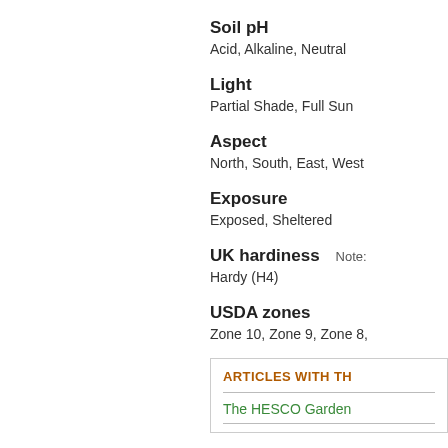Soil pH
Acid, Alkaline, Neutral
Light
Partial Shade, Full Sun
Aspect
North, South, East, West
Exposure
Exposed, Sheltered
UK hardiness
Note:
Hardy (H4)
USDA zones
Zone 10, Zone 9, Zone 8,
ARTICLES WITH TH
The HESCO Garden